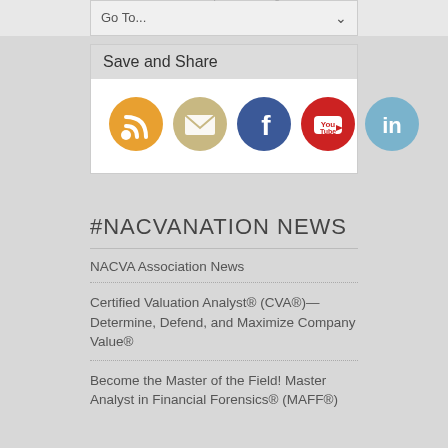Online Sports Betting
Go To...
Save and Share
[Figure (infographic): Row of five social media icon circles: RSS (orange), Email (tan/gold), Facebook (blue), YouTube (red), LinkedIn (light blue)]
#NACVANATION NEWS
NACVA Association News
Certified Valuation Analyst® (CVA®)—Determine, Defend, and Maximize Company Value®
Become the Master of the Field! Master Analyst in Financial Forensics® (MAFF®)